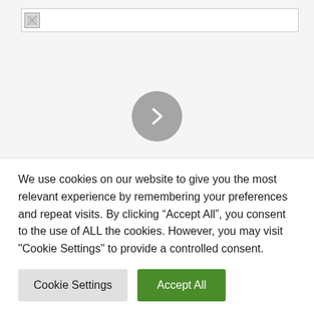[Figure (screenshot): Logo bar with broken image placeholder at top of webpage]
[Figure (other): Carousel next button (grey circle with right-pointing chevron arrow)]
The Court of Auditors gives the “green light” to the new CTT concession contract
We use cookies on our website to give you the most relevant experience by remembering your preferences and repeat visits. By clicking “Accept All”, you consent to the use of ALL the cookies. However, you may visit "Cookie Settings" to provide a controlled consent.
Cookie Settings | Accept All